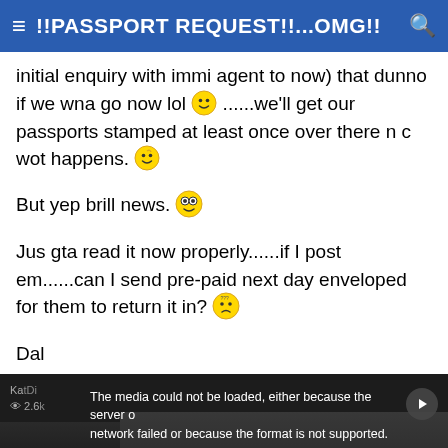≡ !!PASSPORT REQUEST!!...OMG!! 🔍
initial enquiry with immi agent to now) that dunno if we wna go now lol😊......we'll get our passports stamped at least once over there n c wot happens.😊
But yep brill news.🤪
Jus gta read it now properly......if I post em......can I send pre-paid next day enveloped for them to return it in?😕
Dal
[Figure (screenshot): Video player showing media load error message: 'The media could not be loaded, either because the server or network failed or because the format is not supported.' Dark background with play button icon. Partially visible woman in background.]
🔒 Closed  «  1/1  »  + More